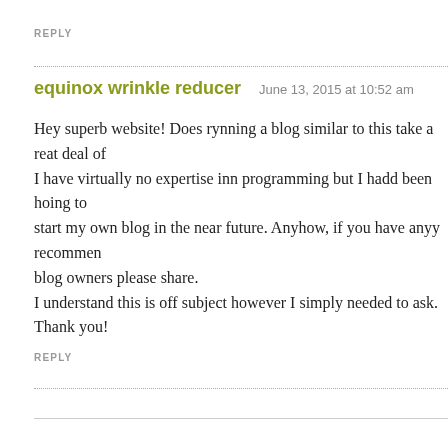REPLY
equinox wrinkle reducer   June 13, 2015 at 10:52 am
Hey superb website! Does rynning a blog similar to this take a reat deal of I have virtually no expertise inn programming but I hadd been hoing to start my own blog in the near future. Anyhow, if you have anyy recommen blog owners please share.
I understand this is off subject however I simply needed to ask.
Thank you!
REPLY